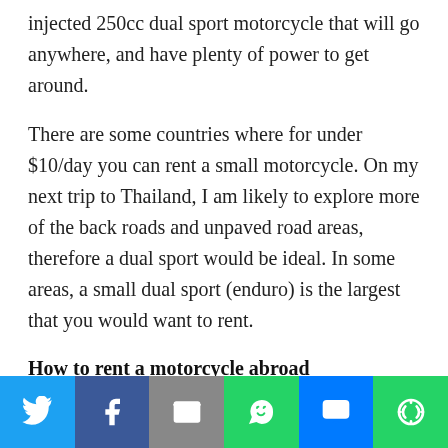injected 250cc dual sport motorcycle that will go anywhere, and have plenty of power to get around.
There are some countries where for under $10/day you can rent a small motorcycle. On my next trip to Thailand, I am likely to explore more of the back roads and unpaved road areas, therefore a dual sport would be ideal. In some areas, a small dual sport (enduro) is the largest that you would want to rent.
How to rent a motorcycle abroad
Renting a motorcycle is generally very easy. You show up, show your passport and drivers license and give
[Figure (infographic): Social sharing bar with Twitter, Facebook, Email, WhatsApp, SMS, and More buttons]